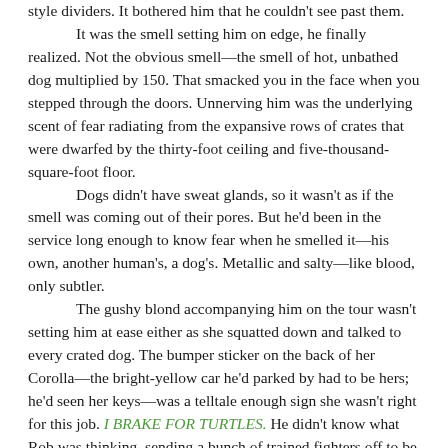style dividers. It bothered him that he couldn't see past them.

It was the smell setting him on edge, he finally realized. Not the obvious smell—the smell of hot, unbathed dog multiplied by 150. That smacked you in the face when you stepped through the doors. Unnerving him was the underlying scent of fear radiating from the expansive rows of crates that were dwarfed by the thirty-foot ceiling and five-thousand-square-foot floor.

Dogs didn't have sweat glands, so it wasn't as if the smell was coming out of their pores. But he'd been in the service long enough to know fear when he smelled it—his own, another human's, a dog's. Metallic and salty—like blood, only subtler.

The gushy blond accompanying him on the tour wasn't setting him at ease either as she squatted down and talked to every crated dog. The bumper sticker on the back of her Corolla—the bright-yellow car he'd parked by had to be hers; he'd seen her keys—was a telltale enough sign she wasn't right for this job. I BRAKE FOR TURTLES. He didn't know what Rob was thinking, sending a bunch of trained fighters off to be in this girl's care.

The bumper sticker wasn't the only thing he noticed. She